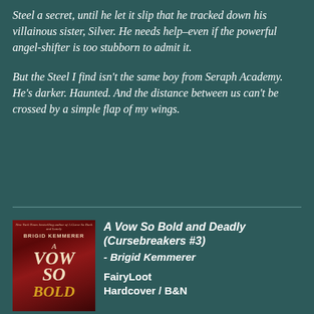[Figure (illustration): Partial book cover showing 'JULIE HALL' author name at top right, blue-toned fantasy illustration]
Steel a secret, until he let it slip that he tracked down his villainous sister, Silver. He needs help–even if the powerful angel-shifter is too stubborn to admit it.
But the Steel I find isn't the same boy from Seraph Academy. He's darker. Haunted. And the distance between us can't be crossed by a simple flap of my wings.
[Figure (illustration): Book cover of 'A Vow So Bold and Deadly' by Brigid Kemmerer — dark red fantasy cover with golden crown and dark branches]
A Vow So Bold and Deadly (Cursebreakers #3) - Brigid Kemmerer
FairyLoot Hardcover / B&N